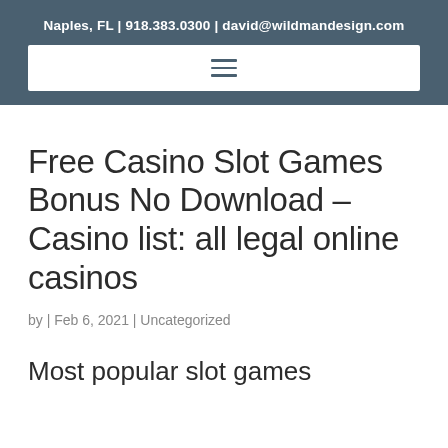Naples, FL | 918.383.0300 | david@wildmandesign.com
Free Casino Slot Games Bonus No Download – Casino list: all legal online casinos
by | Feb 6, 2021 | Uncategorized
Most popular slot games